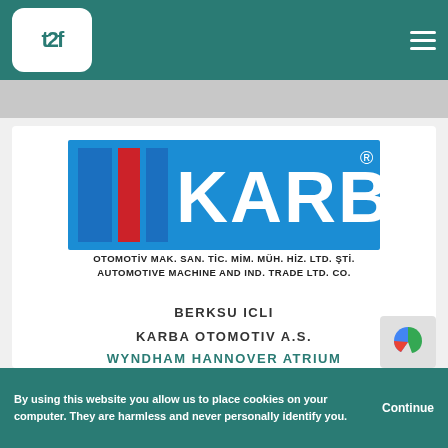t2f navigation bar with logo and hamburger menu
[Figure (logo): KARBA Otomotiv logo — blue rectangular background with white KARBA text, two vertical bars (blue and red) on left, registered trademark symbol, subtitle: OTOMOTİV MAK. SAN. TİC. MİM. MÜH. HİZ. LTD. ŞTİ. / AUTOMOTIVE MACHINE AND IND. TRADE LTD. CO.]
BERKSU ICLI
KARBA OTOMOTIV A.S.
WYNDHAM HANNOVER ATRIUM
INTERSCHUTZ
By using this website you allow us to place cookies on your computer. They are harmless and never personally identify you. Continue